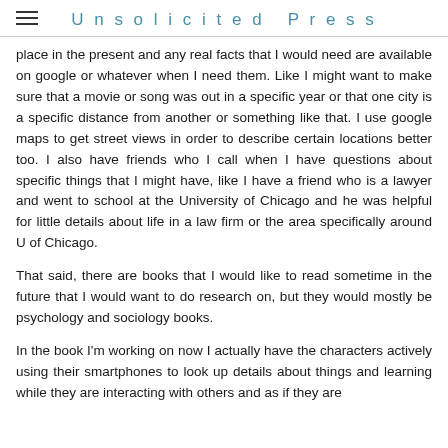Unsolicited Press
place in the present and any real facts that I would need are available on google or whatever when I need them. Like I might want to make sure that a movie or song was out in a specific year or that one city is a specific distance from another or something like that. I use google maps to get street views in order to describe certain locations better too. I also have friends who I call when I have questions about specific things that I might have, like I have a friend who is a lawyer and went to school at the University of Chicago and he was helpful for little details about life in a law firm or the area specifically around U of Chicago.
That said, there are books that I would like to read sometime in the future that I would want to do research on, but they would mostly be psychology and sociology books.
In the book I'm working on now I actually have the characters actively using their smartphones to look up details about things and learning while they are interacting with others and as if they are